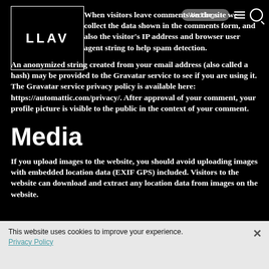[Figure (logo): LLAV logo inside a rectangular border, white text on black background]
When visitors leave comments on the site we collect the data shown in the comments form, and also the visitor's IP address and browser user agent string to help spam detection.
An anonymized string created from your email address (also called a hash) may be provided to the Gravatar service to see if you are using it. The Gravatar service privacy policy is available here: https://automattic.com/privacy/. After approval of your comment, your profile picture is visible to the public in the context of your comment.
Media
If you upload images to the website, you should avoid uploading images with embedded location data (EXIF GPS) included. Visitors to the website can download and extract any location data from images on the website.
This website uses cookies to improve your experience. Privacy Policy